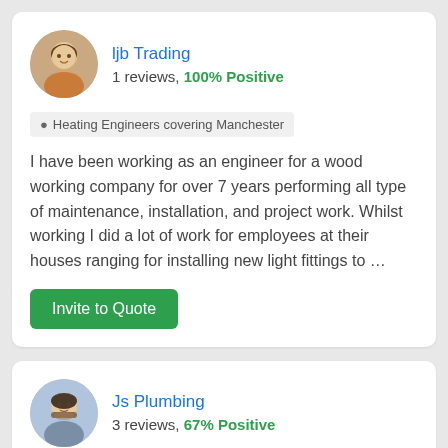[Figure (photo): Profile photo of a man smiling, circular avatar for ljb Trading]
ljb Trading
1 reviews, 100% Positive
Heating Engineers covering Manchester
I have been working as an engineer for a wood working company for over 7 years performing all type of maintenance, installation, and project work. Whilst working I did a lot of work for employees at their houses ranging for installing new light fittings to …
Invite to Quote
[Figure (photo): Profile photo of a man with beard, circular avatar for Js Plumbing]
Js Plumbing
3 reviews, 67% Positive
Heating Engineers covering Manchester